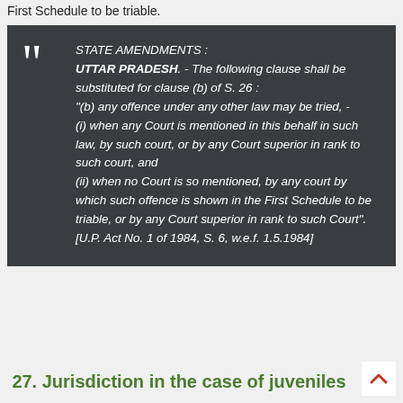First Schedule to be triable.
STATE AMENDMENTS : UTTAR PRADESH. - The following clause shall be substituted for clause (b) of S. 26 : "(b) any offence under any other law may be tried, - (i) when any Court is mentioned in this behalf in such law, by such court, or by any Court superior in rank to such court, and (ii) when no Court is so mentioned, by any court by which such offence is shown in the First Schedule to be triable, or by any Court superior in rank to such Court". [U.P. Act No. 1 of 1984, S. 6, w.e.f. 1.5.1984]
27. Jurisdiction in the case of juveniles